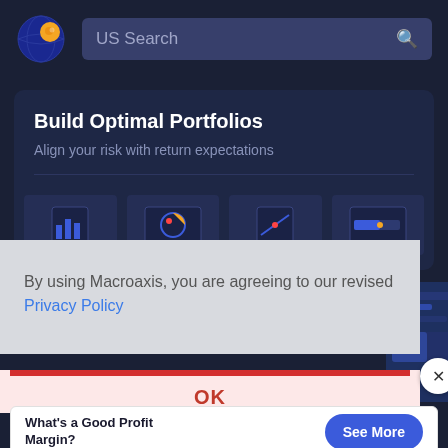[Figure (logo): Macroaxis globe logo with orange and blue colors]
US Search
Build Optimal Portfolios
Align your risk with return expectations
[Figure (screenshot): App interface thumbnails showing portfolio tools]
By using Macroaxis, you are agreeing to our revised Privacy Policy
OK
What's a Good Profit Margin?
See More
optimization will consider exactly how much risk is